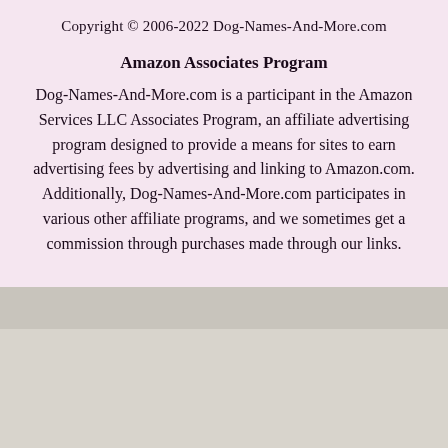Copyright © 2006-2022 Dog-Names-And-More.com
Amazon Associates Program
Dog-Names-And-More.com is a participant in the Amazon Services LLC Associates Program, an affiliate advertising program designed to provide a means for sites to earn advertising fees by advertising and linking to Amazon.com. Additionally, Dog-Names-And-More.com participates in various other affiliate programs, and we sometimes get a commission through purchases made through our links.